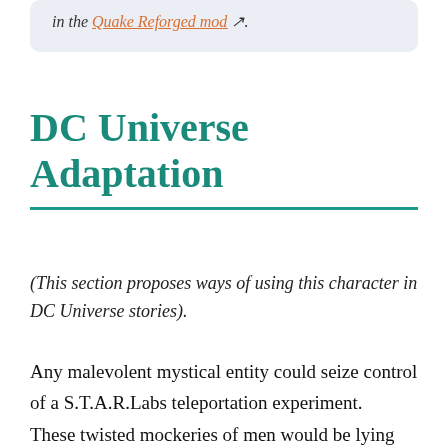in the Quake Reforged mod ↗.
DC Universe Adaptation
(This section proposes ways of using this character in DC Universe stories).
Any malevolent mystical entity could seize control of a S.T.A.R.Labs teleportation experiment.   These twisted mockeries of men would be lying